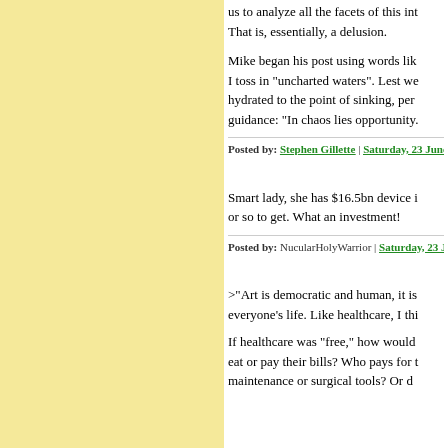us to analyze all the facets of this int... That is, essentially, a delusion.
Mike began his post using words lik... I toss in "uncharted waters". Lest we... hydrated to the point of sinking, perh... guidance: "In chaos lies opportunity...
Posted by: Stephen Gillette | Saturday, 23 June 2012 a
Smart lady, she has $16.5bn device i... or so to get. What an investment!
Posted by: NucularHolyWarrior | Saturday, 23 June 2...
>"Art is democratic and human, it is... everyone's life. Like healthcare, I thi...
If healthcare was "free," how would... eat or pay their bills? Who pays for t... maintenance or surgical tools? Or d...